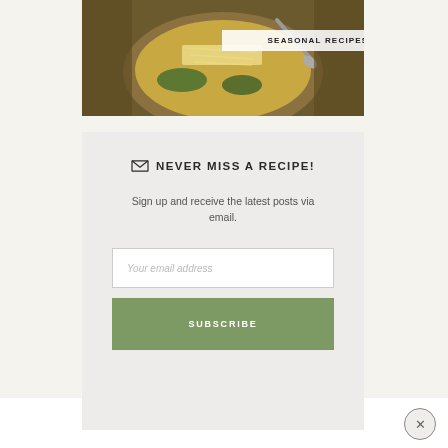[Figure (photo): Top-down photo of a bowl of soup with shredded cheese and greens, with a spoon, overlaid with a white box label reading SEASONAL RECIPES]
NEVER MISS A RECIPE!
Sign up and receive the latest posts via email.
Your email address
SUBSCRIBE